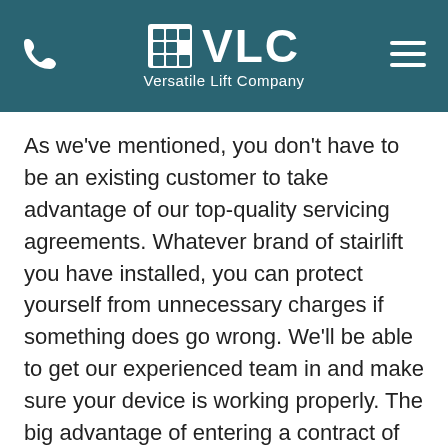[Figure (logo): VLC Versatile Lift Company logo with teal grid icon, white phone icon on left, hamburger menu icon on right, on teal/dark cyan background header]
As we've mentioned, you don't have to be an existing customer to take advantage of our top-quality servicing agreements. Whatever brand of stairlift you have installed, you can protect yourself from unnecessary charges if something does go wrong. We'll be able to get our experienced team in and make sure your device is working properly. The big advantage of entering a contract of this type is that you can tailor it to your budget.